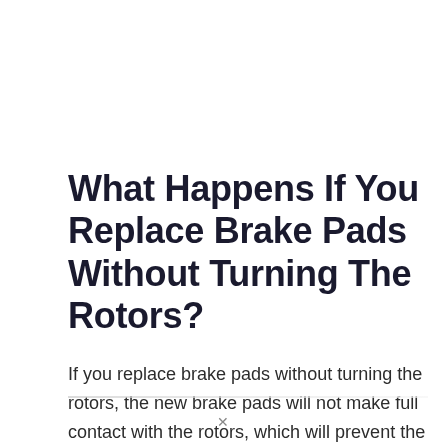What Happens If You Replace Brake Pads Without Turning The Rotors?
If you replace brake pads without turning the rotors, the new brake pads will not make full contact with the rotors, which will prevent the